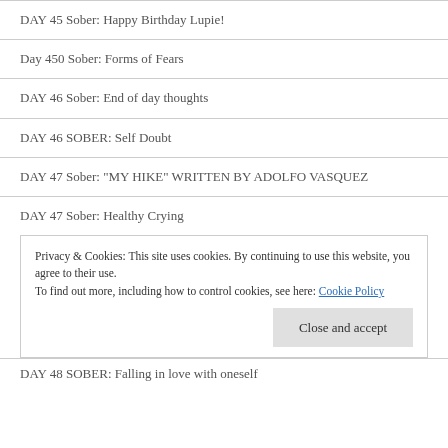DAY 45 Sober: Happy Birthday Lupie!
Day 450 Sober: Forms of Fears
DAY 46 Sober: End of day thoughts
DAY 46 SOBER: Self Doubt
DAY 47 Sober: "MY HIKE" WRITTEN BY ADOLFO VASQUEZ
DAY 47 Sober: Healthy Crying
Privacy & Cookies: This site uses cookies. By continuing to use this website, you agree to their use.
To find out more, including how to control cookies, see here: Cookie Policy
DAY 48 SOBER: Falling in love with oneself